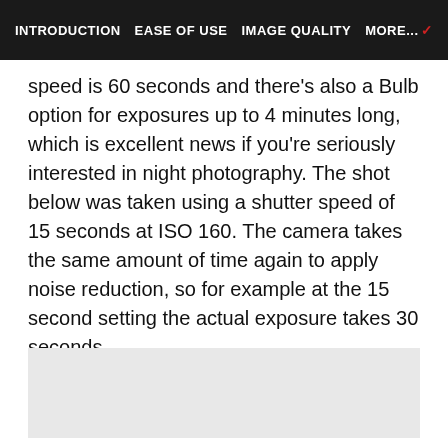INTRODUCTION   EASE OF USE   IMAGE QUALITY   MORE...
speed is 60 seconds and there's also a Bulb option for exposures up to 4 minutes long, which is excellent news if you're seriously interested in night photography. The shot below was taken using a shutter speed of 15 seconds at ISO 160. The camera takes the same amount of time again to apply noise reduction, so for example at the 15 second setting the actual exposure takes 30 seconds.
[Figure (photo): Placeholder image area (gray rectangle) for a night photography shot]